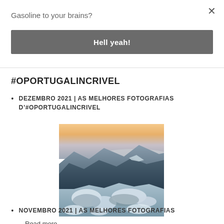×
Gasoline to your brains?
Hell yeah!
#OPORTUGALINCRIVEL
DEZEMBRO 2021 | AS MELHORES FOTOGRAFIAS D'#OPORTUGALINCRIVEL
[Figure (photo): Mountain landscape photo showing snow-covered rocks in the foreground, blue mountain ridges in the background, and a warm orange/pink sunrise or sunset sky above the horizon.]
Read more...
NOVEMBRO 2021 | AS MELHORES FOTOGRAFIAS